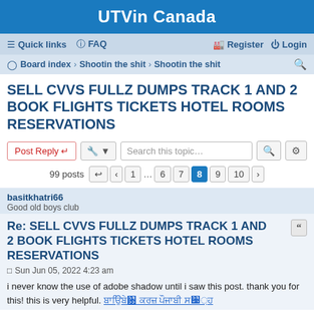UTVin Canada
≡ Quick links  ? FAQ    Register  Login
Board index · Shootin the shit · Shootin the shit
SELL CVVS FULLZ DUMPS TRACK 1 AND 2 BOOK FLIGHTS TICKETS HOTEL ROOMS RESERVATIONS
Post Reply   [tools]   Search this topic...   [search] [settings]
99 posts  [←] 1 ... 6 7 8 9 10 [→]
basitkhatri66
Good old boys club
Re: SELL CVVS FULLZ DUMPS TRACK 1 AND 2 BOOK FLIGHTS TICKETS HOTEL ROOMS RESERVATIONS
Sun Jun 05, 2022 4:23 am
i never know the use of adobe shadow until i saw this post. thank you for this! this is very helpful. ਡਾਉਨਲੋਡ ਕਰੋ ਪੰਜਾਬੀ ਸਟੇਟਸ